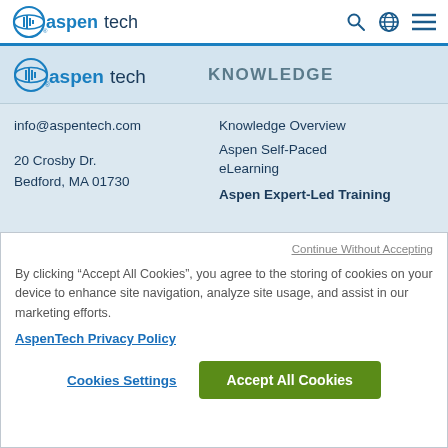[Figure (logo): AspenTech logo in navigation bar with search, globe, and hamburger menu icons]
[Figure (logo): AspenTech logo in sub-header with KNOWLEDGE label]
info@aspentech.com
20 Crosby Dr.
Bedford, MA 01730
Knowledge Overview
Aspen Self-Paced eLearning
Aspen Expert-Led Training
Continue Without Accepting
By clicking “Accept All Cookies”, you agree to the storing of cookies on your device to enhance site navigation, analyze site usage, and assist in our marketing efforts.
AspenTech Privacy Policy
Cookies Settings
Accept All Cookies